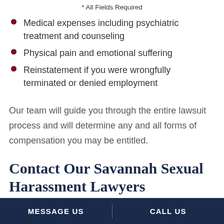* All Fields Required
Medical expenses including psychiatric treatment and counseling
Physical pain and emotional suffering
Reinstatement if you were wrongfully terminated or denied employment
Our team will guide you through the entire lawsuit process and will determine any and all forms of compensation you may be entitled.
Contact Our Savannah Sexual Harassment Lawyers
MESSAGE US   CALL US